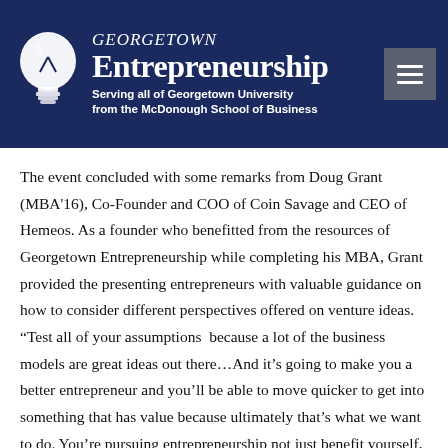[Figure (logo): Georgetown Entrepreneurship logo with lightbulb icon and text: GEORGETOWN Entrepreneurship, Serving all of Georgetown University from the McDonough School of Business]
The event concluded with some remarks from Doug Grant (MBA'16), Co-Founder and COO of Coin Savage and CEO of Hemeos. As a founder who benefitted from the resources of Georgetown Entrepreneurship while completing his MBA, Grant provided the presenting entrepreneurs with valuable guidance on how to consider different perspectives offered on venture ideas. “Test all of your assumptions  because a lot of the business models are great ideas out there…And it’s going to make you a better entrepreneur and you’ll be able to move quicker to get into something that has value because ultimately that’s what we want to do. You’re pursuing entrepreneurship not just benefit yourself, but you really want make an impact on the world, and so you want to make sure that the time that you’re spending on it is something